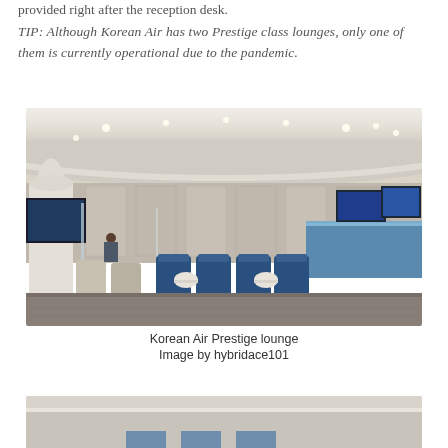provided right after the reception desk.
TIP: Although Korean Air has two Prestige class lounges, only one of them is currently operational due to the pandemic.
[Figure (photo): Interior of Korean Air Prestige lounge showing seating area with blue accent chairs, partition walls, round tables, and illuminated curved ceiling with recessed lighting.]
Korean Air Prestige lounge
Image by hybridace101
[Figure (photo): Partial view of another lounge area, bottom of page cut off.]